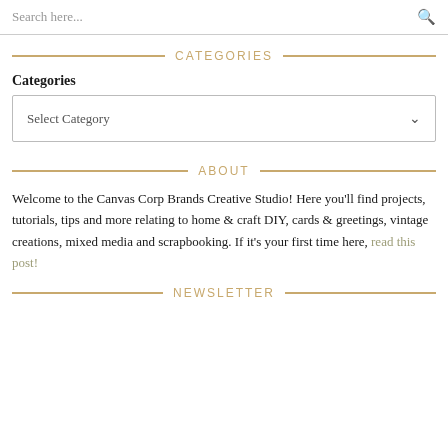Search here...
CATEGORIES
Categories
Select Category
ABOUT
Welcome to the Canvas Corp Brands Creative Studio! Here you'll find projects, tutorials, tips and more relating to home & craft DIY, cards & greetings, vintage creations, mixed media and scrapbooking. If it's your first time here, read this post!
NEWSLETTER